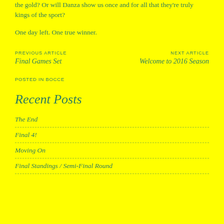the gold? Or will Danza show us once and for all that they're truly kings of the sport?
One day left. One true winner.
PREVIOUS ARTICLE
Final Games Set
NEXT ARTICLE
Welcome to 2016 Season
POSTED IN Bocce
Recent Posts
The End
Final 4!
Moving On
Final Standings / Semi-Final Round